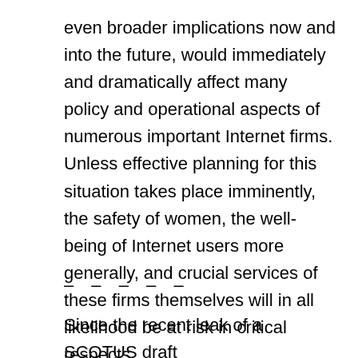even broader implications now and into the future, would immediately and dramatically affect many policy and operational aspects of numerous important Internet firms. Unless effective planning for this situation takes place imminently, the safety of women, the well-being of Internet users more generally, and crucial services of these firms themselves will in all likelihood be at risk in critical respects.
– – – – –
Since the recent leak of a SCOTUS draft